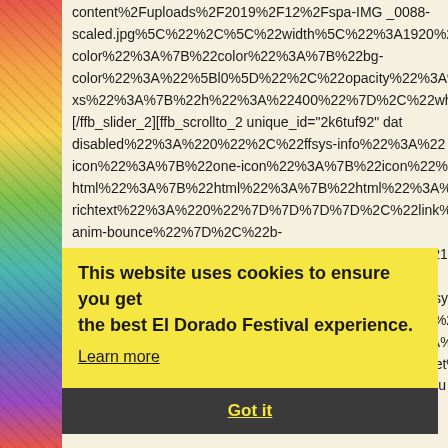[Figure (illustration): Colorful decorative pattern strip on the left side of the page with floral/abstract motifs in red, orange, yellow, green, teal, blue, and purple]
content%2Fuploads%2F2019%2F12%2Fspa-IMG_0088-scaled.jpg%5C%22%2C%5C%22width%5C%22%3A1920%2color%22%3A%7B%22color%22%3A%7B%22bg-color%22%3A%22%5Bl0%5D%22%2C%22opacity%22%3A%xs%22%3A%7B%22h%22%3A%22400%22%7D%2C%22wh-m[/ffb_slider_2][ffb_scrollto_2 unique_id="2k6tuf92" datdisabled%22%3A%220%22%2C%22ffsys-info%22%3A%22icon%22%3A%7B%22one-icon%22%3A%7B%22icon%22%3html%22%3A%7B%22html%22%3A%7B%22html%22%3A%7richtext%22%3A%220%22%7D%7D%7D%7D%2C%22link%22anim-bounce%22%7D%2C%22b-m%22%3A%7B%22hide%22%3A%7B%22xs%22%3A%221%22color%22%3A%22fg-text-light%22%7D%7D%7D"][/ffb_scdata=%7B%220%22%3A%7B%22gen%22%3A%7B%22ffsysinfo%22%3A%22%7B%7D%22%2C%22xs%22%3A%222%22%centered%22%3A%221%22%2C%22not-equalize%22%3A%last%22%3A%22no%22%2C%22sm-last%22%3A%22unset%last%22%3A%22unset%22%2C%22xs-offset%22%3A%22u
This website uses cookies to ensure you get the best El Dorado Festival experience.
Learn more
Got it